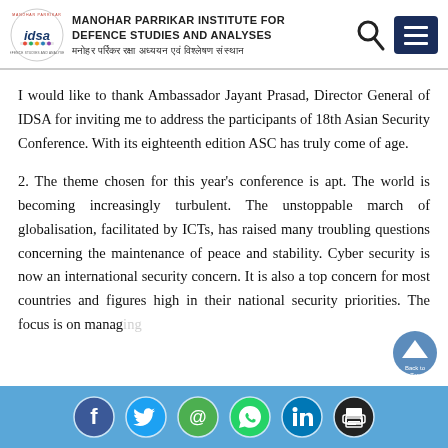MANOHAR PARRIKAR INSTITUTE FOR DEFENCE STUDIES AND ANALYSES | मनोहर पर्रिकर रक्षा अध्ययन एवं विश्लेषण संस्थान
I would like to thank Ambassador Jayant Prasad, Director General of IDSA for inviting me to address the participants of 18th Asian Security Conference. With its eighteenth edition ASC has truly come of age.
2. The theme chosen for this year's conference is apt. The world is becoming increasingly turbulent. The unstoppable march of globalisation, facilitated by ICTs, has raised many troubling questions concerning the maintenance of peace and stability. Cyber security is now an international security concern. It is also a top concern for most countries and figures high in their national security priorities. The focus is on managing
Social media icons: Facebook, Twitter, Email, WhatsApp, LinkedIn, Print